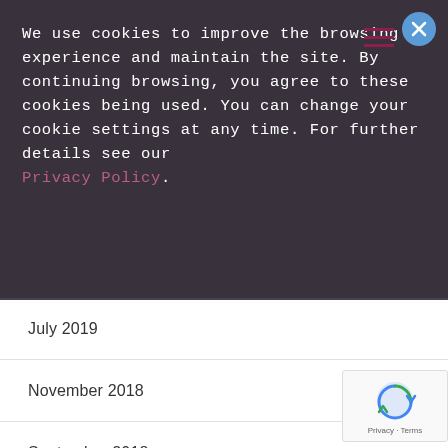We use cookies to improve the browsing experience and maintain the site. By continuing browsing, you agree to these cookies being used. You can change your cookie settings at any time. For further details see our Privacy Policy.
July 2019
November 2018
September 2018
August 2018
July 2018
February 2018
January 2018